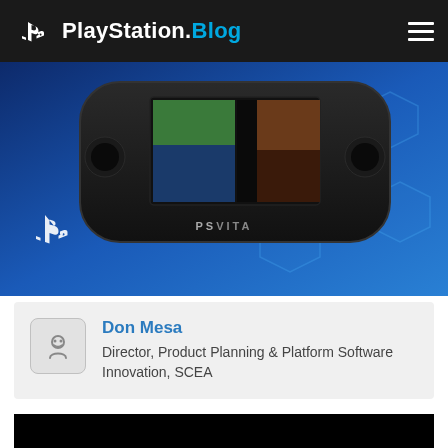PlayStation.Blog
[Figure (photo): PS Vita handheld gaming device shown from top angle, displaying game screenshots on screen, with PlayStation logo in lower left, blue hexagonal pattern background]
Don Mesa
Director, Product Planning & Platform Software Innovation, SCEA
[Figure (screenshot): Black video player area]